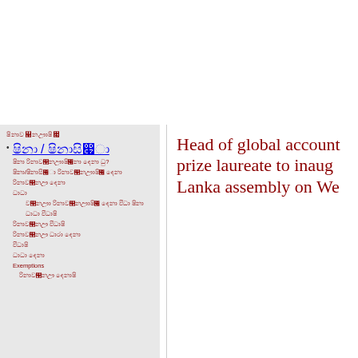[Figure (other): Red button/badge with Sinhala script text]
Sinhala script navigation header text
Sinhala / Sinhala script (active nav item)
Sinhala script menu item 1
Sinhala/mixed script menu item 2
Sinhala script menu item 3
Sinhala script menu item 4
Sinhala script sub-item 1
Sinhala script sub-item 2
Sinhala script menu item 5
Sinhala script menu item 6
Sinhala script menu item 7
Sinhala script menu item 8
Exemptions
Sinhala script bottom item
Head of global account prize laureate to inaug Lanka assembly on We